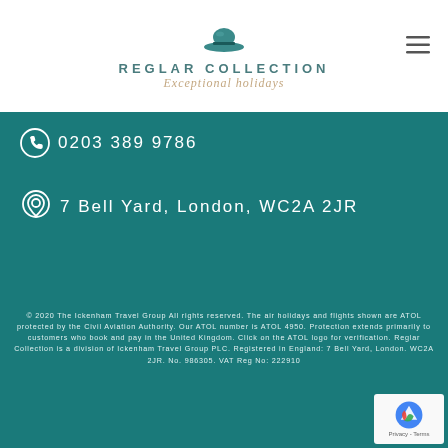[Figure (logo): Reglar Collection logo with hat icon, teal text 'REGLAR COLLECTION', and italic tagline 'Exceptional holidays']
0203 389 9786
7 Bell Yard, London, WC2A 2JR
© 2020 The Ickenham Travel Group All rights reserved. The air holidays and flights shown are ATOL protected by the Civil Aviation Authority. Our ATOL number is ATOL 4950. Protection extends primarily to customers who book and pay in the United Kingdom. Click on the ATOL logo for verification. Reglar Collection is a division of Ickenham Travel Group PLC. Registered in England: 7 Bell Yard, London. WC2A 2JR. No. 986305. VAT Reg No: 222910...